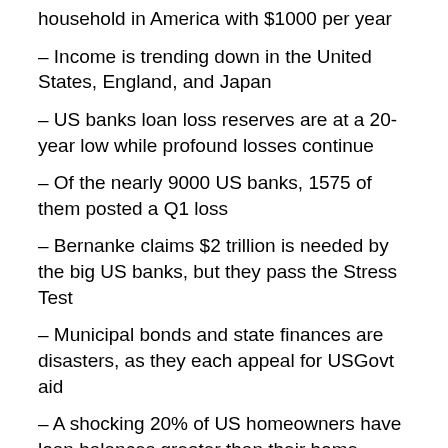household in America with $1000 per year
– Income is trending down in the United States, England, and Japan
– US banks loan loss reserves are at a 20-year low while profound losses continue
– Of the nearly 9000 US banks, 1575 of them posted a Q1 loss
– Bernanke claims $2 trillion is needed by the big US banks, but they pass the Stress Test
– Municipal bonds and state finances are disasters, as they each appeal for USGovt aid
– A shocking 20% of US homeowners have loan balances greater than their home values